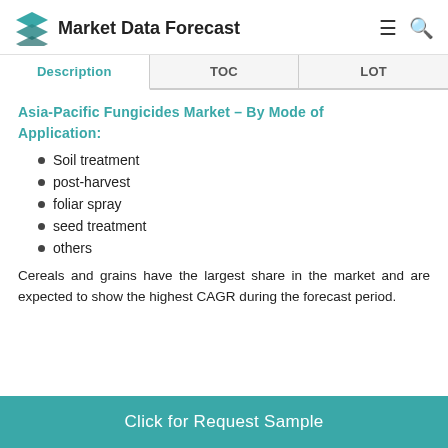Market Data Forecast
| Description | TOC | LOT |
| --- | --- | --- |
Asia-Pacific Fungicides Market – By Mode of Application:
Soil treatment
post-harvest
foliar spray
seed treatment
others
Cereals and grains have the largest share in the market and are expected to show the highest CAGR during the forecast period.
Click for Request Sample